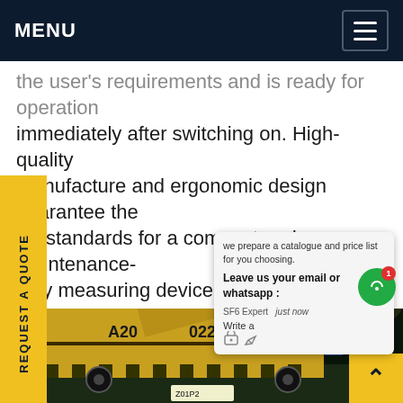MENU
the user's requirements and is ready for operation immediately after switching on. High-quality manufacture and ergonomic design guarantee the lity standards for a compact and maintenance-ndly measuring deviceGet price
we prepare a catalogue and price list for you choosing.
Leave us your email or whatsapp :
SF6 Expert   just now
Write a
[Figure (photo): Night scene showing SF6 gas handling trucks (yellow vehicles marked A20 022) at an electrical substation with high-voltage power transmission towers. A worker in blue uniform is visible near the truck. Chat overlay and UI elements visible.]
REQUEST A QUOTE